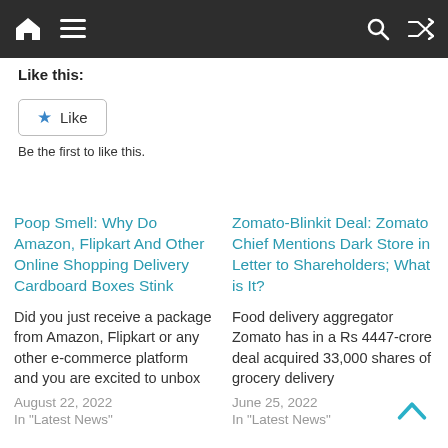[Navigation bar with home, menu, search, shuffle icons]
Like this:
[Figure (other): Like button with star icon and text 'Like']
Be the first to like this.
Poop Smell: Why Do Amazon, Flipkart And Other Online Shopping Delivery Cardboard Boxes Stink
Did you just receive a package from Amazon, Flipkart or any other e-commerce platform and you are excited to unbox
August 22, 2022
In "Latest News"
Zomato-Blinkit Deal: Zomato Chief Mentions Dark Store in Letter to Shareholders; What is It?
Food delivery aggregator Zomato has in a Rs 4447-crore deal acquired 33,000 shares of grocery delivery
June 25, 2022
In "Latest News"